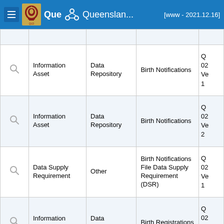Que Queensland... [www - 2021.12.16]
|  | Type | Sub-type | Name | Code |
| --- | --- | --- | --- | --- |
| 🔍 | Information Asset | Data Repository | Birth Notifications | Q 02 Ve 1 |
| 🔍 | Information Asset | Data Repository | Birth Notifications | Q 02 Ve 2 |
| 🔍 | Data Supply Requirement | Other | Birth Notifications File Data Supply Requirement (DSR) | Q 02 Ve 1 |
| 🔍 | Information Asset | Data Repository | Birth Registrations | Q 02 Ve 1 |
| 🔍 |  |  |  | Q |